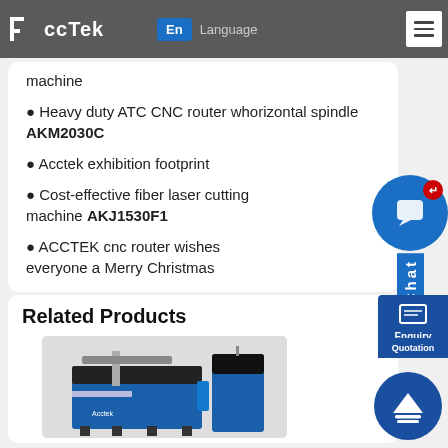AccTek | En | Language
machine
Heavy duty ATC CNC router w... horizontal spindle AKM2030C
Acctek exhibition footprint
Cost-effective fiber laser cutting machine AKJ1530F1
ACCTEK cnc router wishes everyone a Merry Christmas
Related Products
[Figure (photo): Blue and black CNC fiber laser cutting machine with separate control tower unit, Acctek branding visible]